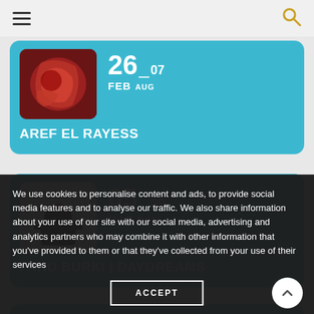Menu | Search
[Figure (screenshot): Event card for Aref El Rayess with date 26 FEB - 07 AUG and thumbnail of colorful artwork]
AREF EL RAYESS
[Figure (screenshot): Event card for Fahd Burki Daydreams with date 05 MAR - 09 OCT and thumbnail of black sculpture]
FAHD BURKI | DAYDREAMS
We use cookies to personalise content and ads, to provide social media features and to analyse our traffic. We also share information about your use of our site with our social media, advertising and analytics partners who may combine it with other information that you've provided to them or that they've collected from your use of their services